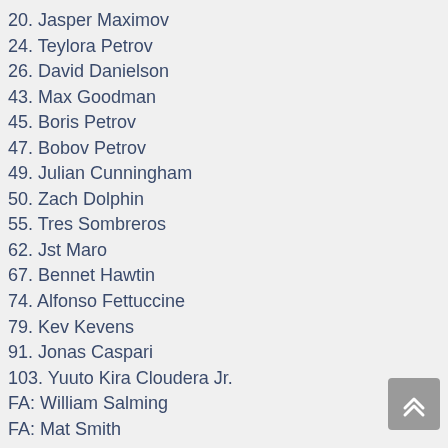20. Jasper Maximov
24. Teylora Petrov
26. David Danielson
43. Max Goodman
45. Boris Petrov
47. Bobov Petrov
49. Julian Cunningham
50. Zach Dolphin
55. Tres Sombreros
62. Jst Maro
67. Bennet Hawtin
74. Alfonso Fettuccine
79. Kev Kevens
91. Jonas Caspari
103. Yuuto Kira Cloudera Jr.
FA: William Salming
FA: Mat Smith
Season 56
05. Jari Heikkinen
FA: Igor Petrov
FA: Mikael Koskinen
FA: Tyler Ward
Season 57